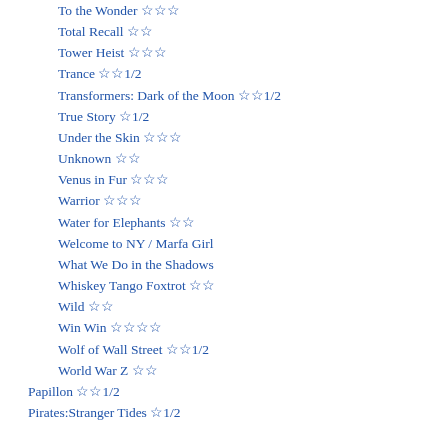To the Wonder ☆☆☆
Total Recall ☆☆
Tower Heist ☆☆☆
Trance ☆☆1/2
Transformers: Dark of the Moon ☆☆1/2
True Story ☆1/2
Under the Skin ☆☆☆
Unknown ☆☆
Venus in Fur ☆☆☆
Warrior ☆☆☆
Water for Elephants ☆☆
Welcome to NY / Marfa Girl
What We Do in the Shadows
Whiskey Tango Foxtrot ☆☆
Wild ☆☆
Win Win ☆☆☆☆
Wolf of Wall Street ☆☆1/2
World War Z ☆☆
Papillon ☆☆1/2
Pirates:Stranger Tides ☆1/2